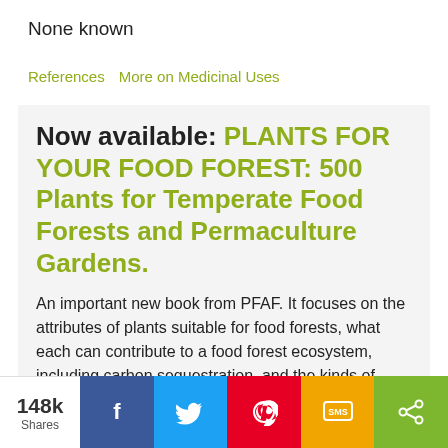None known
References   More on Medicinal Uses
Now available: PLANTS FOR YOUR FOOD FOREST: 500 Plants for Temperate Food Forests and Permaculture Gardens.
An important new book from PFAF. It focuses on the attributes of plants suitable for food forests, what each can contribute to a food forest ecosystem, including carbon sequestration, and the kinds of foods they
148k Shares